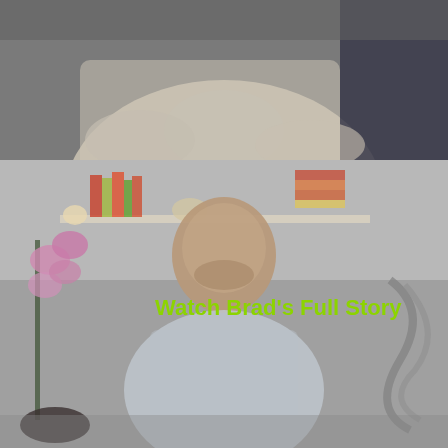[Figure (photo): Top portion showing torso of person in light gray/beige shirt, with dark jeans visible on the right edge, gray background]
[Figure (photo): Main photo of a middle-aged bald man smiling, seated indoors with a bookshelf behind him, pink orchid flowers on the left, and a sculptural decoration on the right. A play button overlay and the text 'Watch Brad's Full Story' appear in bright green over the image.]